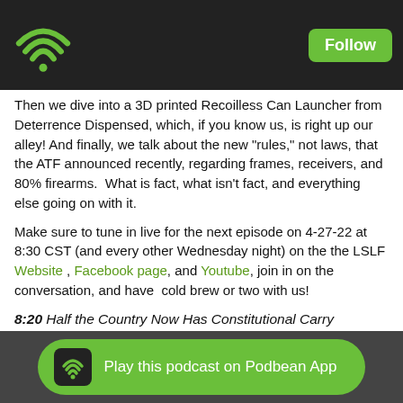Follow
Then we dive into a 3D printed Recoilless Can Launcher from Deterrence Dispensed, which, if you know us, is right up our alley! And finally, we talk about the new "rules," not laws, that the ATF announced recently, regarding frames, receivers, and 80% firearms.  What is fact, what isn't fact, and everything else going on with it.
Make sure to tune in live for the next episode on 4-27-22 at 8:30 CST (and every other Wednesday night) on the the LSLF Website , Facebook page, and Youtube, join in on the conversation, and have  cold brew or two with us!
8:20 Half the Country Now Has Constitutional Carry
18:48 Meta Tactical Apex Series Bullpup Carbine Conversion Kit
35:00 New ATF Director Nominee Announced
50:00 Deterrence Dispensed Recoilless Can Launcher
57:20 ATF Announces New 80% "Rules"
Play this podcast on Podbean App